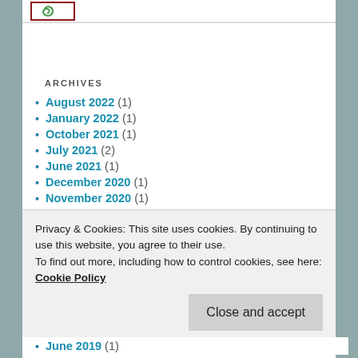[Figure (logo): Logo with swirl icon inside a dark red bordered box]
ARCHIVES
August 2022 (1)
January 2022 (1)
October 2021 (1)
July 2021 (2)
June 2021 (1)
December 2020 (1)
November 2020 (1)
June 2020 (1)
Privacy & Cookies: This site uses cookies. By continuing to use this website, you agree to their use.
To find out more, including how to control cookies, see here: Cookie Policy
June 2019 (1)